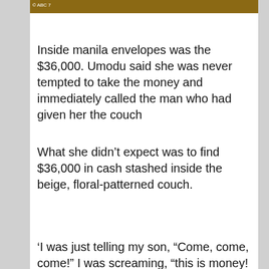[Figure (photo): Image strip showing a wooden surface/couch with ABC 7 watermark in top left corner]
Inside manila envelopes was the $36,000. Umodu said she was never tempted to take the money and immediately called the man who had given her the couch
What she didn't expect was to find $36,000 in cash stashed inside the beige, floral-patterned couch.
'I was just telling my son, “Come, come, come!” I was screaming, “this is money! I need to call the
The conscious woman returned the massive sum of money to the original owners of the
We and our partners use cookies on this site to improve our service, perform analytics, personalize advertising, measure advertising performance, and remember website preferences.